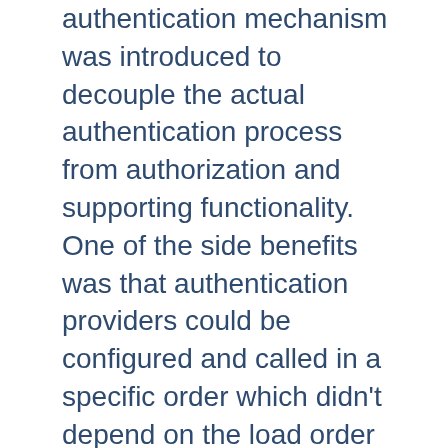authentication mechanism was introduced to decouple the actual authentication process from authorization and supporting functionality. One of the side benefits was that authentication providers could be configured and called in a specific order which didn't depend on the load order of the auth module itself. This same provider based mechanism has been brought forward into authorization as well. What this means is that the Require directive not only specifies which authorization methods should be used, it also specifies the order in which they are called.